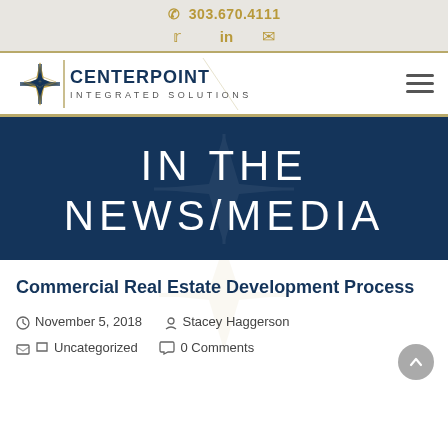303.670.4111
[Figure (logo): Centerpoint Integrated Solutions logo with compass star icon and wordmark]
IN THE NEWS/MEDIA
Commercial Real Estate Development Process
November 5, 2018   Stacey Haggerson   Uncategorized   0 Comments